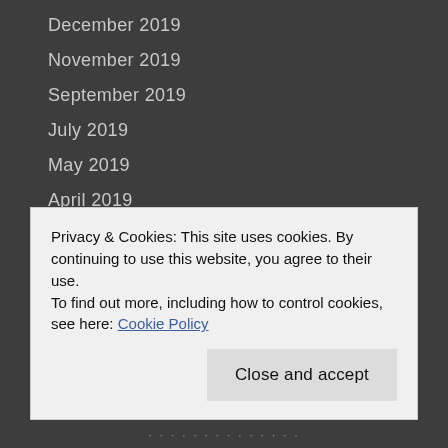December 2019
November 2019
September 2019
July 2019
May 2019
April 2019
March 2019
February 2019
November 2018
October 2018
September 2018
May 2018
Privacy & Cookies: This site uses cookies. By continuing to use this website, you agree to their use.
To find out more, including how to control cookies, see here: Cookie Policy